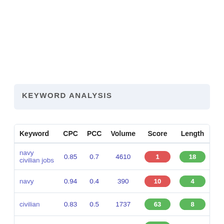KEYWORD ANALYSIS
| Keyword | CPC | PCC | Volume | Score | Length |
| --- | --- | --- | --- | --- | --- |
| navy civilian jobs | 0.85 | 0.7 | 4610 | 1 | 18 |
| navy | 0.94 | 0.4 | 390 | 10 | 4 |
| civilian | 0.83 | 0.5 | 1737 | 63 | 8 |
| jobs | 0.77 | 0.3 | 1798 | 73 |  |